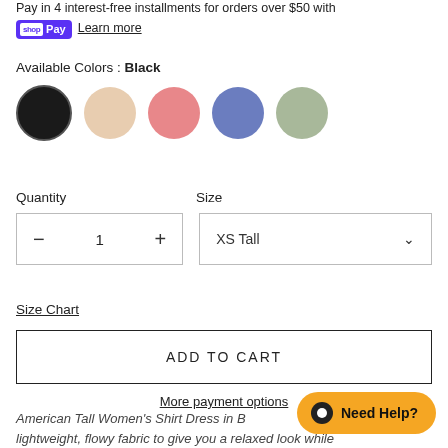Pay in 4 interest-free installments for orders over $50 with shop Pay  Learn more
Available Colors : Black
[Figure (illustration): Five color swatches: black, beige, pink, blue, sage green]
Quantity
Size
[Figure (screenshot): Quantity stepper showing minus, 1, plus]
[Figure (screenshot): Size dropdown showing XS Tall]
Size Chart
ADD TO CART
More payment options
American Tall Women's Shirt Dress in b... lightweight, flowy fabric to give you a relaxed look while
[Figure (illustration): Need Help? chat bubble button in orange]